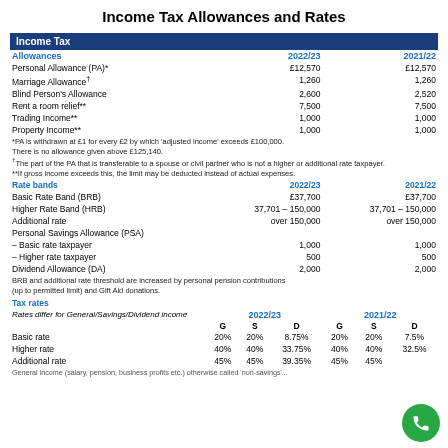Income Tax Allowances and Rates
| Income Tax |  |  |
| --- | --- | --- |
| Allowances | 2022/23 | 2021/22 |
| Personal Allowance (PA)* | £12,570 | £12,570 |
| Marriage Allowance† | 1,260 | 1,260 |
| Blind Person's Allowance | 2,600 | 2,520 |
| Rent a room relief** | 7,500 | 7,500 |
| Trading Income** | 1,000 | 1,000 |
| Property Income** | 1,000 | 1,000 |
| *PA is withdrawn at £1 for every £2 by which 'adjusted income' exceeds £100,000. There is no allowance given above £125,140. |  |  |
| †The part of the PA that is transferable to a spouse or civil partner who is not a higher or additional rate taxpayer. |  |  |
| **If gross income exceeds this, the limit may be deducted instead of actual expenses. |  |  |
| Rate bands | 2022/23 | 2021/22 |
| Basic Rate Band (BRB) | £37,700 | £37,700 |
| Higher Rate Band (HRB) | 37,701 – 150,000 | 37,701 – 150,000 |
| Additional rate | over 150,000 | over 150,000 |
| Personal Savings Allowance (PSA) |  |  |
| – Basic rate taxpayer | 1,000 | 1,000 |
| – Higher rate taxpayer | 500 | 500 |
| Dividend Allowance (DA) | 2,000 | 2,000 |
| BRB and additional rate threshold are increased by personal pension contributions (up to permitted limit) and Gift Aid donations. |  |  |
| Tax rates |  |  |
| Rates differ for General/Savings/Dividend income | 2022/23 | 2021/22 |
|  | G  S  D | G  S  D |
| Basic rate | 20%  20%  8.75% | 20%  20%  7.5% |
| Higher rate | 40%  40%  33.75% | 40%  40%  32.5% |
| Additional rate | 45%  45%  39.35% | 45%  45%   |